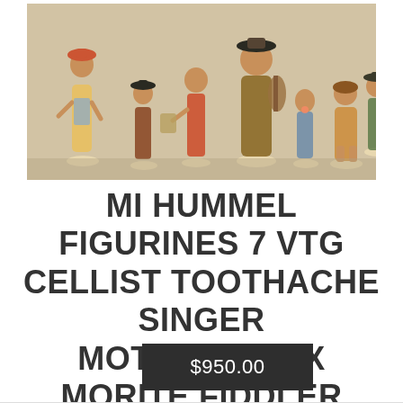[Figure (photo): A group of seven M.I. Hummel porcelain figurines arranged on a light surface, including characters such as a cellist, toothache figure, singer, mother, and fiddler, displayed against a beige background.]
MI HUMMEL FIGURINES 7 VTG CELLIST TOOTHACHE SINGER MOTHERS MAX MORITE FIDDLER
$950.00